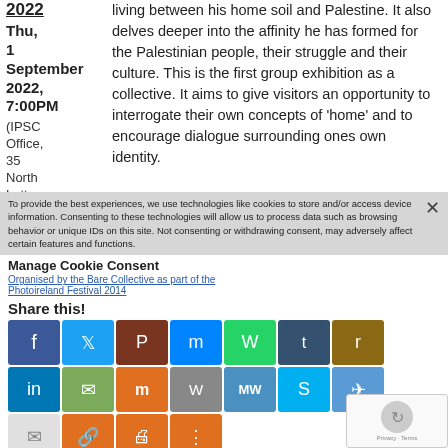2022 Thu, 1 September 2022, 7:00PM (IPSC Office, 35 North Lotts Dublin 1)
living between his home soil and Palestine. It also delves deeper into the affinity he has formed for the Palestinian people, their struggle and their culture. This is the first group exhibition as a collective. It aims to give visitors an opportunity to interrogate their own concepts of 'home' and to encourage dialogue surrounding ones own identity.
Manage Cookie Consent
To provide the best experiences, we use technologies like cookies to store and/or access device information. Consenting to these technologies will allow us to process data such as browsing behavior or unique IDs on this site. Not consenting or withdrawing consent, may adversely affect certain features and functions.
Organised by the Bare Collective as part of the Photoireland Festival 2014
Share this!
Accept
Deny
View preferences
Cookie Policy
[Dublin]
[Figure (other): Event poster for Palestine cultural tour Ireland 2022 with city image]